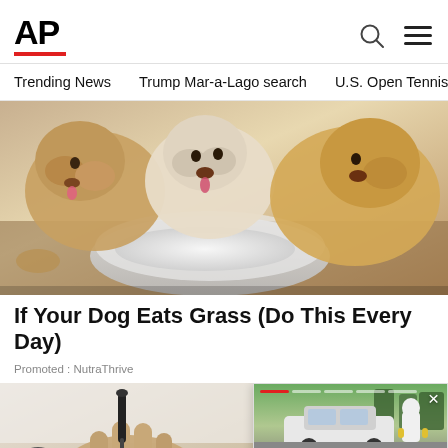AP
Trending News   Trump Mar-a-Lago search   U.S. Open Tennis
[Figure (photo): Three white/golden puppies licking food from a white bowl]
If Your Dog Eats Grass (Do This Every Day)
Promoted : NutraThrive
[Figure (photo): Hand holding a dropper with liquid, close-up]
[Figure (photo): Person in white protective suit near a white car, Canadian police stabbing story]
Canadian police search province for deadly stabbing s...